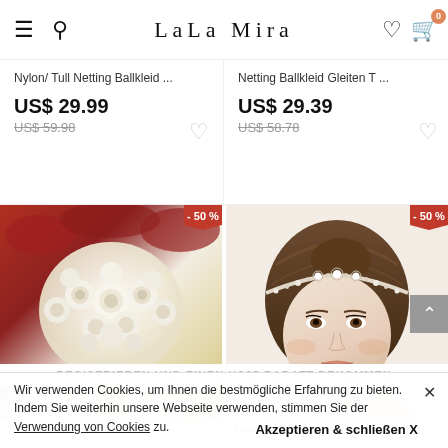LaLa Mira - Navigation header with menu, search, wishlist, cart icons
Nylon/Tull Netting Ballkleid ...
US$ 29.99
US$ 59.98
Netting Ballkleid Gleiten T ...
US$ 29.39
US$ 58.78
[Figure (photo): Bridal bouquet with white roses and yellow/cream ribbons with red foliage background. -50% discount badge in top right corner.]
[Figure (photo): Young woman wearing a decorative crystal/pearl bridal tiara headband. -50% discount badge in top right corner.]
Brautsträuße/Brautjungfer
Tiaras Hochzeit/besondere
REGISTRIEREN UND EINEN US$5 RABATT BEKOMMEN
Wir verwenden Cookies, um Ihnen die bestmögliche Erfahrung zu bieten. Indem Sie weiterhin unsere Webseite verwenden, stimmen Sie der Verwendung von Cookies zu.
Akzeptieren & schließen X